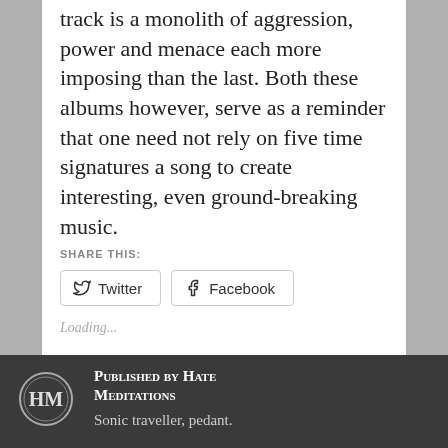track is a monolith of aggression, power and menace each more imposing than the last. Both these albums however, serve as a reminder that one need not rely on five time signatures a song to create interesting, even ground-breaking music.
SHARE THIS:
Twitter  Facebook
Loading...
Published by Hate Meditations
Sonic traveller, pedant.